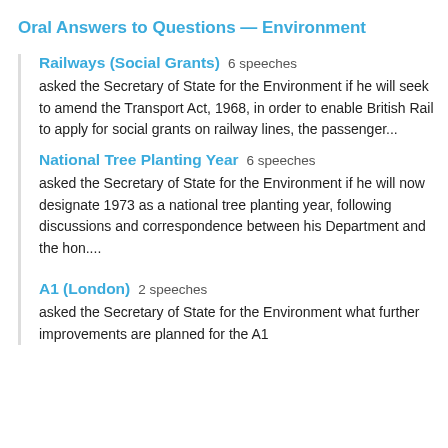Oral Answers to Questions — Environment
Railways (Social Grants)  6 speeches
asked the Secretary of State for the Environment if he will seek to amend the Transport Act, 1968, in order to enable British Rail to apply for social grants on railway lines, the passenger...
National Tree Planting Year  6 speeches
asked the Secretary of State for the Environment if he will now designate 1973 as a national tree planting year, following discussions and correspondence between his Department and the hon....
A1 (London)  2 speeches
asked the Secretary of State for the Environment what further improvements are planned for the A1